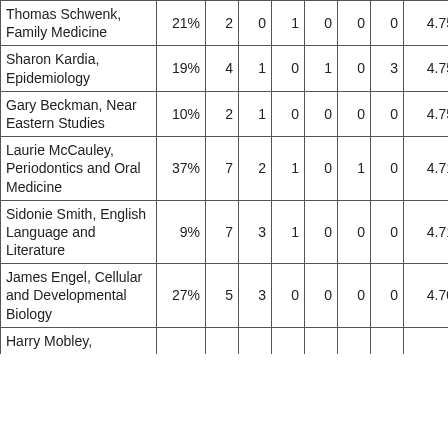| Thomas Schwenk, Family Medicine | 21% | 2 | 0 | 1 | 0 | 0 | 0 | 4.75 | 4.50 | 4 |
| Sharon Kardia, Epidemiology | 19% | 4 | 1 | 0 | 1 | 0 | 3 | 4.75 |  |  |
| Gary Beckman, Near Eastern Studies | 10% | 2 | 1 | 0 | 0 | 0 | 0 | 4.75 |  |  |
| Laurie McCauley, Periodontics and Oral Medicine | 37% | 7 | 2 | 1 | 0 | 1 | 0 | 4.71 | 4.75 | 4 |
| Sidonie Smith, English Language and Literature | 9% | 7 | 3 | 1 | 0 | 0 | 0 | 4.71 | 4.92 | 4 |
| James Engel, Cellular and Developmental Biology | 27% | 5 | 3 | 0 | 0 | 0 | 0 | 4.70 | 4.50 | 4 |
| Harry Mobley, |  |  |  |  |  |  |  |  |  |  |